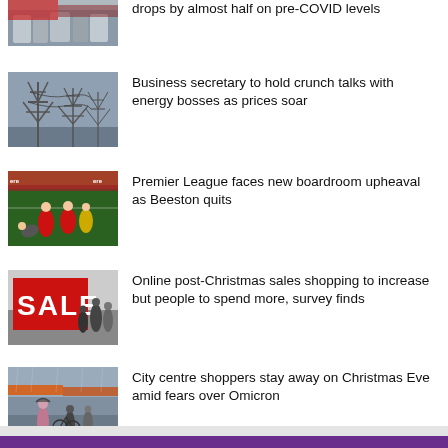[Figure (photo): Partial news thumbnail at top - people at a sporting event]
drops by almost half on pre-COVID levels
[Figure (photo): Electricity pylons against a grey sky]
Business secretary to hold crunch talks with energy bosses as prices soar
[Figure (photo): Football match action shot with players in red jerseys]
Premier League faces new boardroom upheaval as Beeston quits
[Figure (photo): Sale sign on a shop front with shoppers walking by]
Online post-Christmas sales shopping to increase but people to spend more, survey finds
[Figure (photo): City centre street scene in rain on Christmas Eve]
City centre shoppers stay away on Christmas Eve amid fears over Omicron